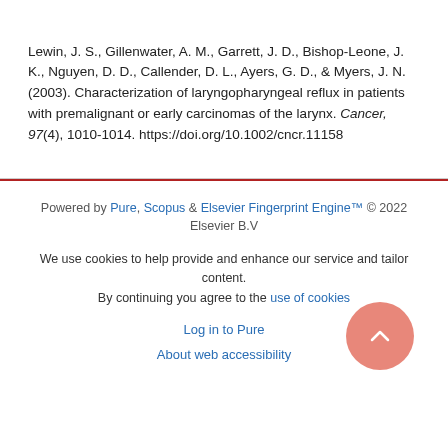Lewin, J. S., Gillenwater, A. M., Garrett, J. D., Bishop-Leone, J. K., Nguyen, D. D., Callender, D. L., Ayers, G. D., & Myers, J. N. (2003). Characterization of laryngopharyngeal reflux in patients with premalignant or early carcinomas of the larynx. Cancer, 97(4), 1010-1014. https://doi.org/10.1002/cncr.11158
Powered by Pure, Scopus & Elsevier Fingerprint Engine™ © 2022 Elsevier B.V
We use cookies to help provide and enhance our service and tailor content. By continuing you agree to the use of cookies
Log in to Pure
About web accessibility